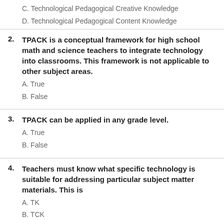C. Technological Pedagogical Creative Knowledge
D. Technological Pedagogical Content Knowledge
2. TPACK is a conceptual framework for high school math and science teachers to integrate technology into classrooms. This framework is not applicable to other subject areas.
A. True
B. False
3. TPACK can be applied in any grade level.
A. True
B. False
4. Teachers must know what specific technology is suitable for addressing particular subject matter materials. This is
A. TK
B. TCK